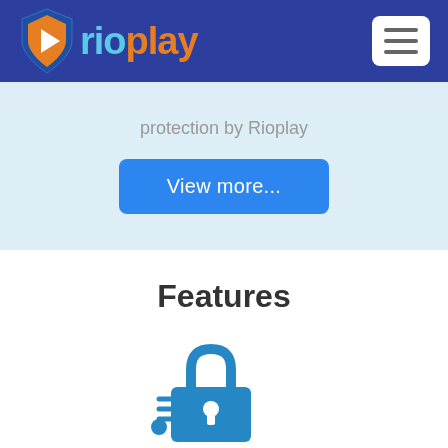[Figure (logo): Rioplay logo with shield icon containing orange play button, text 'rio' in blue and 'play' in orange]
[Figure (other): Hamburger menu icon (three horizontal lines) in white rounded rectangle]
protection by Rioplay
[Figure (other): Blue rounded rectangle button with text 'View more...']
Features
[Figure (illustration): Blue icon of a padlock with thermometer and shield with checkmark symbols]